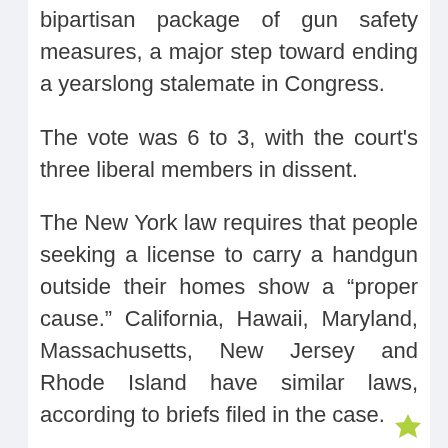bipartisan package of gun safety measures, a major step toward ending a yearslong stalemate in Congress.
The vote was 6 to 3, with the court's three liberal members in dissent.
The New York law requires that people seeking a license to carry a handgun outside their homes show a “proper cause.” California, Hawaii, Maryland, Massachusetts, New Jersey and Rhode Island have similar laws, according to briefs filed in the case.
Two men who were denied the licenses they sought in New York sued, saying that “the state makes it virtually impossible for the